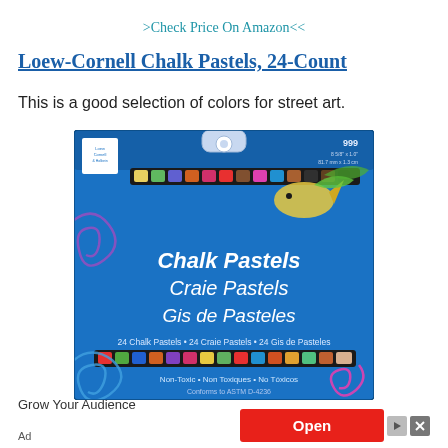>Check Price On Amazon<<
Loew-Cornell Chalk Pastels, 24-Count
This is a good selection of colors for street art.
[Figure (photo): Product photo of Loew-Cornell Chalk Pastels 24-Count box, blue packaging showing chalk sticks, with text 'Chalk Pastels / Craie Pastels / Gis de Pasteles', Non-Toxic label.]
Grow Your Audience
Ad